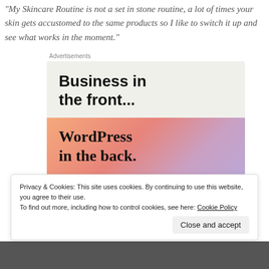My Skincare Routine is not a set in stone routine, a lot of times your skin gets accustomed to the same products so I like to switch it up and see what works in the moment.
Advertisements
[Figure (illustration): Advertisement banner split into two parts: top section with light gray background reading 'Business in the front...' in bold sans-serif; bottom section with colorful orange/pink/purple gradient background reading 'WordPress in the back.' in bold serif font.]
Privacy & Cookies: This site uses cookies. By continuing to use this website, you agree to their use. To find out more, including how to control cookies, see here: Cookie Policy
Close and accept